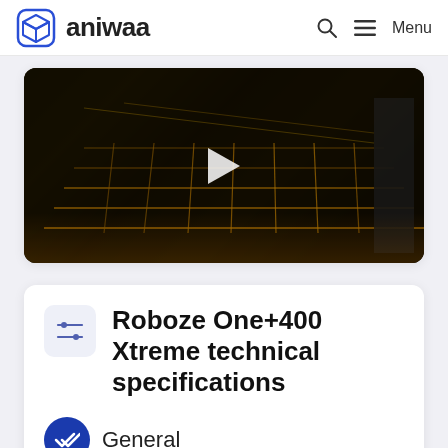aniwaa — Menu
[Figure (screenshot): Video thumbnail showing a 3D printer build platform with grid pattern illuminated in warm amber tones, with a play button overlay, displayed inside a white card.]
Roboze One+400 Xtreme technical specifications
General